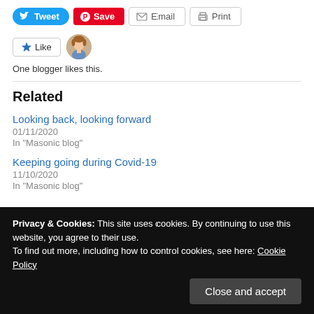[Figure (screenshot): Social share buttons row: Tweet (blue), Save (red Pinterest), Email (outline), Print (outline)]
[Figure (screenshot): Like button with star icon and a circular avatar photo of a woman]
One blogger likes this.
Related
Looking back, looking forward
01/11/2020
In "Masonic blog"
Keeping going during Covid-19
11/10/2020
In "Masonic blog"
Privacy & Cookies: This site uses cookies. By continuing to use this website, you agree to their use.
To find out more, including how to control cookies, see here: Cookie Policy